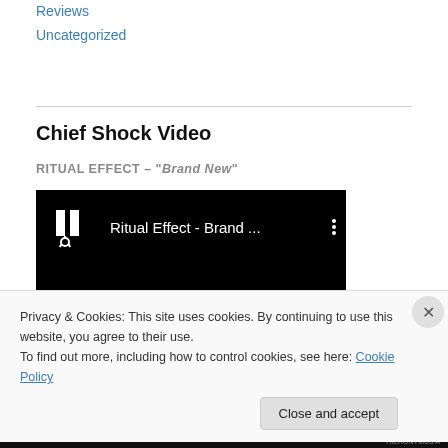Reviews
Uncategorized
Chief Shock Video
RITUAL EFFECT – "Brand New"
[Figure (screenshot): Embedded YouTube-style video player showing 'Ritual Effect - Brand ...' with a white logo icon on a black background and a vertical three-dot menu icon.]
Privacy & Cookies: This site uses cookies. By continuing to use this website, you agree to their use.
To find out more, including how to control cookies, see here: Cookie Policy
Close and accept